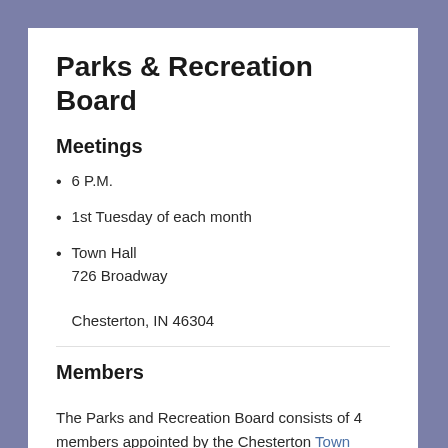Parks & Recreation Board
Meetings
6 P.M.
1st Tuesday of each month
Town Hall
726 Broadway
Chesterton, IN 46304
Members
The Parks and Recreation Board consists of 4 members appointed by the Chesterton Town Council. The members shall be appointed on the basis of their interest in and knowledge of parks and recreation. Current members are:
[Figure (other): Google Translate widget with G logo, 'Select Language' label and dropdown arrow]